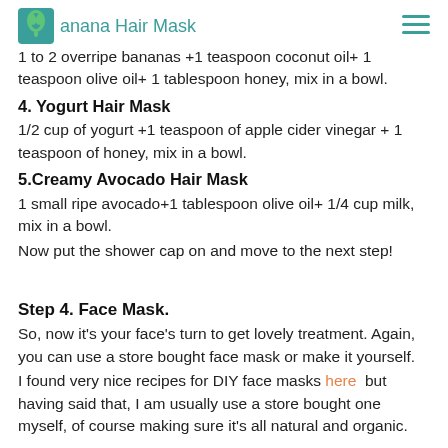Banana Hair Mask
1 to 2 overripe bananas +1 teaspoon coconut oil+ 1 teaspoon olive oil+ 1 tablespoon honey, mix in a bowl.
4. Yogurt Hair Mask
1/2 cup of yogurt +1 teaspoon of apple cider vinegar + 1 teaspoon of honey, mix in a bowl.
5.Creamy Avocado Hair Mask
1 small ripe avocado+1 tablespoon olive oil+ 1/4 cup milk, mix in a bowl.
Now put the shower cap on and move to the next step!
Step 4. Face Mask.
So, now it's your face's turn to get lovely treatment. Again, you can use a store bought face mask or make it yourself.
I found very nice recipes for DIY face masks here but having said that, I am usually use a store bought one myself, of course making sure it's all natural and organic.